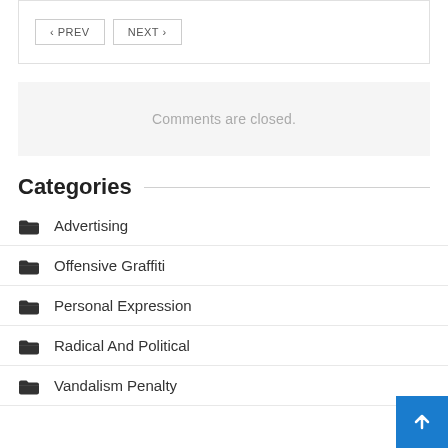< PREV   NEXT >
Comments are closed.
Categories
Advertising
Offensive Graffiti
Personal Expression
Radical And Political
Vandalism Penalty